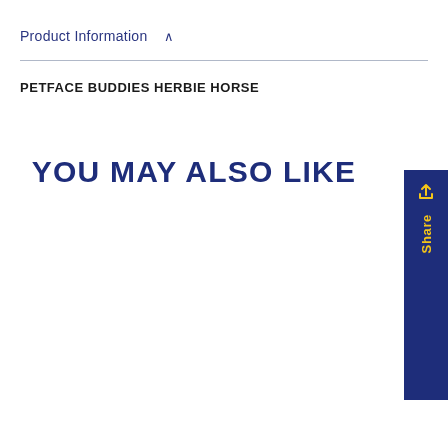Product Information ∧
PETFACE BUDDIES HERBIE HORSE
YOU MAY ALSO LIKE